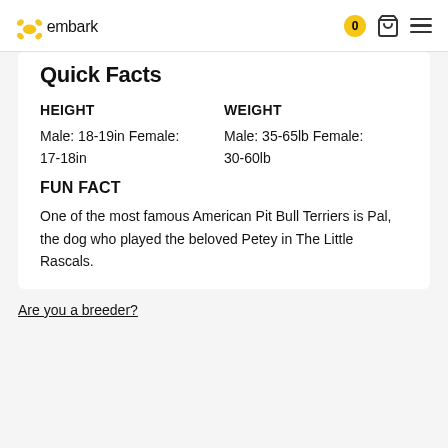embark
Quick Facts
HEIGHT
Male: 18-19in Female: 17-18in
WEIGHT
Male: 35-65lb Female: 30-60lb
FUN FACT
One of the most famous American Pit Bull Terriers is Pal, the dog who played the beloved Petey in The Little Rascals.
Are you a breeder?